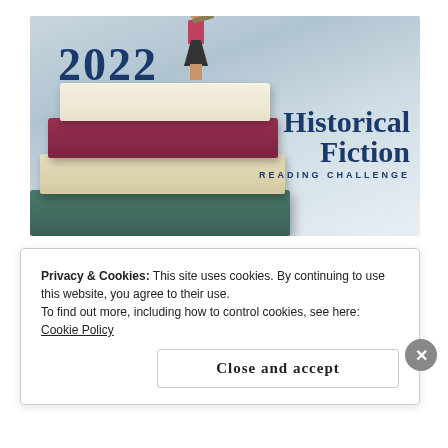[Figure (illustration): 2022 Historical Fiction Reading Challenge banner image showing a miniature woman standing on a stack of colorful books, looking through a telescope, with bold text '2022' top left and 'Historical Fiction READING CHALLENGE' bottom right]
Privacy & Cookies: This site uses cookies. By continuing to use this website, you agree to their use. To find out more, including how to control cookies, see here: Cookie Policy
Close and accept